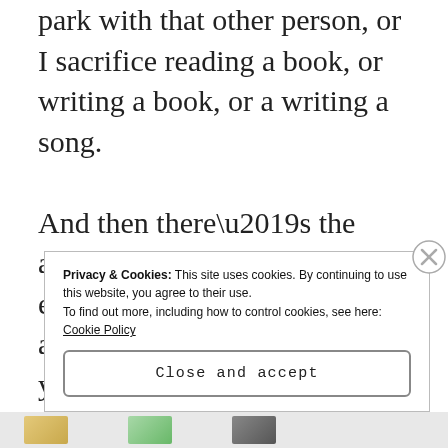park with that other person, or I sacrifice reading a book, or writing a book, or a writing a song.

And then there’s the attention you put towards everything in life. That attention is your time, and you’re paying it constantly, towards your choosing. But even when you’re not
Privacy & Cookies: This site uses cookies. By continuing to use this website, you agree to their use.
To find out more, including how to control cookies, see here:
Cookie Policy

Close and accept